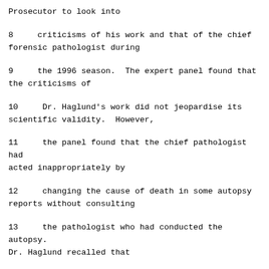Prosecutor to look into
8     criticisms of his work and that of the chief forensic pathologist during
9     the 1996 season.  The expert panel found that the criticisms of
10    Dr. Haglund's work did not jeopardise its scientific validity.  However,
11    the panel found that the chief pathologist had acted inappropriately by
12    changing the cause of death in some autopsy reports without consulting
13    the pathologist who had conducted the autopsy. Dr. Haglund recalled that